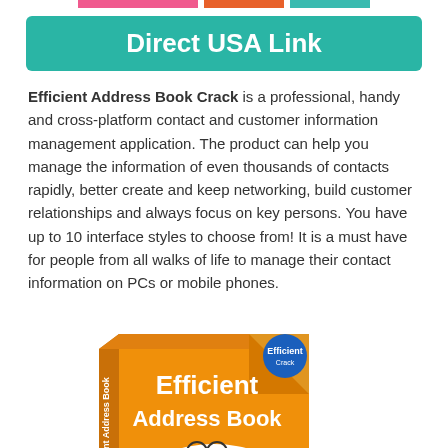[Figure (illustration): Top navigation bar with three colored horizontal bars: pink, orange, and teal]
Direct USA Link
Efficient Address Book Crack is a professional, handy and cross-platform contact and customer information management application. The product can help you manage the information of even thousands of contacts rapidly, better create and keep networking, build customer relationships and always focus on key persons. You have up to 10 interface styles to choose from! It is a must have for people from all walks of life to manage their contact information on PCs or mobile phones.
[Figure (illustration): Software box for Efficient Address Book showing an orange box with the product name and two cartoon figures]